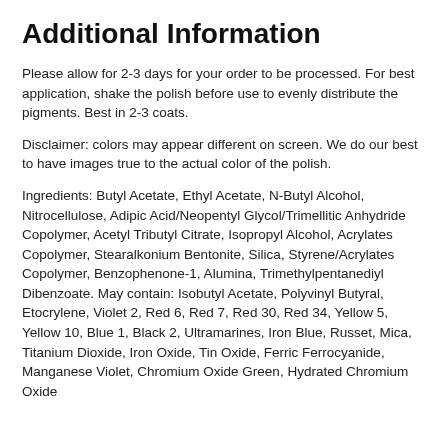Additional Information
Please allow for 2-3 days for your order to be processed. For best application, shake the polish before use to evenly distribute the pigments. Best in 2-3 coats.
Disclaimer: colors may appear different on screen. We do our best to have images true to the actual color of the polish.
Ingredients: Butyl Acetate, Ethyl Acetate, N-Butyl Alcohol, Nitrocellulose, Adipic Acid/Neopentyl Glycol/Trimellitic Anhydride Copolymer, Acetyl Tributyl Citrate, Isopropyl Alcohol, Acrylates Copolymer, Stearalkonium Bentonite, Silica, Styrene/Acrylates Copolymer, Benzophenone-1, Alumina, Trimethylpentanediyl Dibenzoate. May contain: Isobutyl Acetate, Polyvinyl Butyral, Etocrylene, Violet 2, Red 6, Red 7, Red 30, Red 34, Yellow 5, Yellow 10, Blue 1, Black 2, Ultramarines, Iron Blue, Russet, Mica, Titanium Dioxide, Iron Oxide, Tin Oxide, Ferric Ferrocyanide, Manganese Violet, Chromium Oxide Green, Hydrated Chromium Oxide